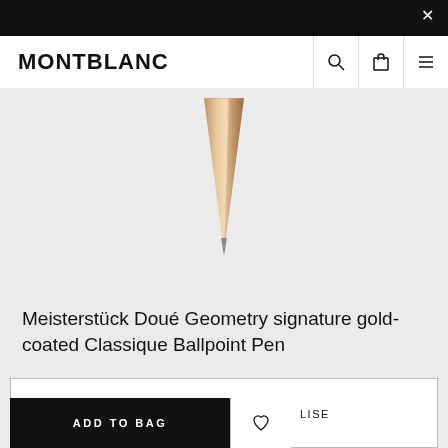MONTBLANC
[Figure (photo): Close-up of the tip of a Montblanc Meisterstück Doué Geometry gold-coated Classique Ballpoint Pen, showing the tapered rose-gold metallic cone-shaped tip pointing downward against a light grey background.]
Meisterstück Doué Geometry signature gold-coated Classique Ballpoint Pen
SGD945.00
ADD TO BAG
LISE